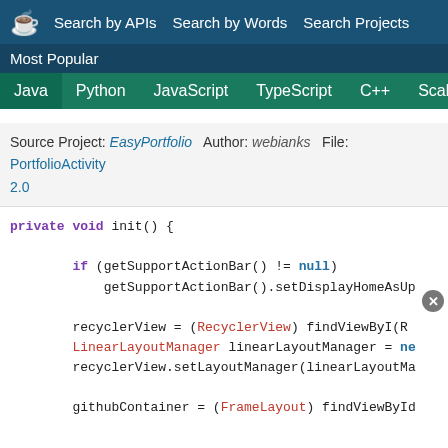Search by APIs   Search by Words   Search Projects
Most Popular
Java   Python   JavaScript   TypeScript   C++   Scala
Source Project: EasyPortfolio   Author: webianks   File: PortfolioActivity   2.0
private void init() {

        if (getSupportActionBar() != null)
            getSupportActionBar().setDisplayHomeAsUp...

        recyclerView = (RecyclerView) findViewByI...
        LinearLayoutManager linearLayoutManager = ne...
        recyclerView.setLayoutManager(linearLayoutMa...

        githubContainer = (FrameLayout) findViewById...